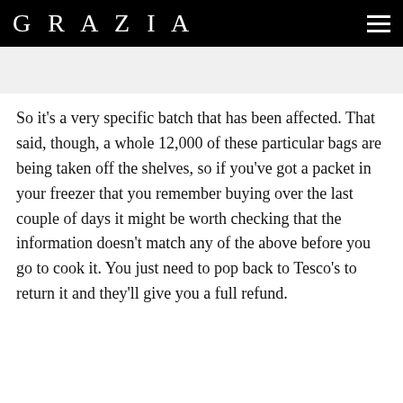GRAZIA
So it's a very specific batch that has been affected. That said, though, a whole 12,000 of these particular bags are being taken off the shelves, so if you've got a packet in your freezer that you remember buying over the last couple of days it might be worth checking that the information doesn't match any of the above before you go to cook it. You just need to pop back to Tesco's to return it and they'll give you a full refund.